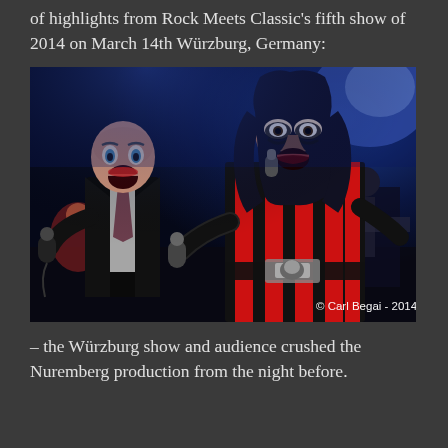of highlights from Rock Meets Classic's fifth show of 2014 on March 14th Würzburg, Germany:
[Figure (photo): Two male performers singing on stage. Left performer is bald wearing a black suit with a tie, holding a microphone. Right performer has long dark hair, wearing a red and black striped jacket with gothic makeup (Alice Cooper style), also holding a microphone. Blue stage lighting with other musicians visible in the background. Copyright watermark: © Carl Begai - 2014]
– the Würzburg show and audience crushed the Nuremberg production from the night before.